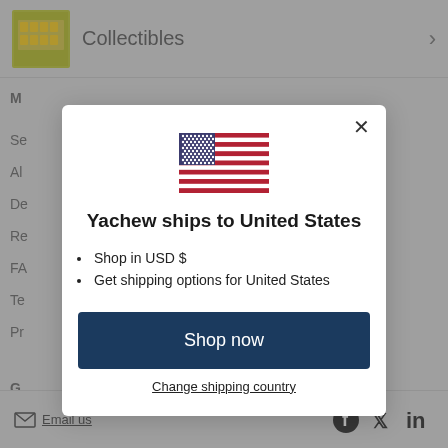[Figure (screenshot): Background website page showing Collectibles navigation item and sidebar menu items (Se, Al, De, Re, FA, Te, Pr, G) with social media icons and Email us link at bottom]
[Figure (illustration): United States flag emoji/icon centered in modal dialog]
Yachew ships to United States
Shop in USD $
Get shipping options for United States
Shop now
Change shipping country